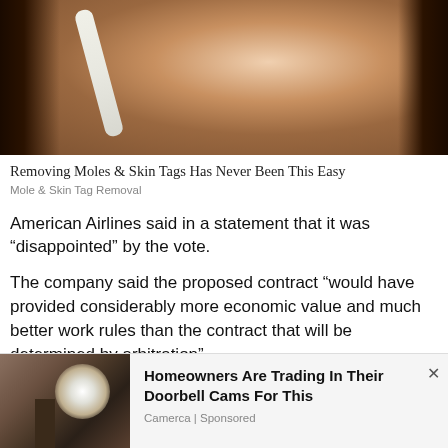[Figure (photo): Close-up photo of a woman with dark hair applying a white nose strip or tape across her nose, beauty/skincare advertisement image]
Removing Moles & Skin Tags Has Never Been This Easy
Mole & Skin Tag Removal
American Airlines said in a statement that it was “disappointed” by the vote.
The company said the proposed contract “would have provided considerably more economic value and much better work rules than the contract that will be determined by arbitration”.
The first arbitration meeting is scheduled for December
[Figure (photo): Advertisement showing a home security camera mounted on a wall bracket, with a white bulb-shaped device]
Homeowners Are Trading In Their Doorbell Cams For This
Camerca | Sponsored